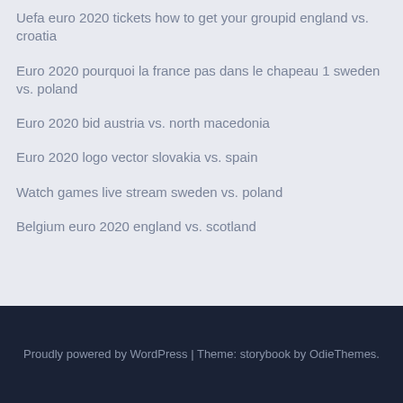Uefa euro 2020 tickets how to get your groupid england vs. croatia
Euro 2020 pourquoi la france pas dans le chapeau 1 sweden vs. poland
Euro 2020 bid austria vs. north macedonia
Euro 2020 logo vector slovakia vs. spain
Watch games live stream sweden vs. poland
Belgium euro 2020 england vs. scotland
Proudly powered by WordPress | Theme: storybook by OdieThemes.